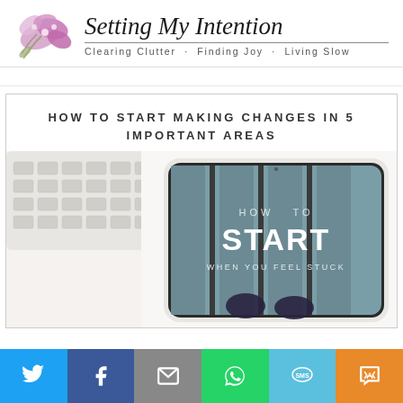Setting My Intention — Clearing Clutter · Finding Joy · Living Slow
HOW TO START MAKING CHANGES IN 5 IMPORTANT AREAS
[Figure (photo): Tablet on a desk showing a book cover 'HOW TO START WHEN YOU FEEL STUCK' with shoes visible at bottom, keyboard partially visible]
[Figure (infographic): Social media share bar with Twitter, Facebook, Email, WhatsApp, SMS, and More buttons]